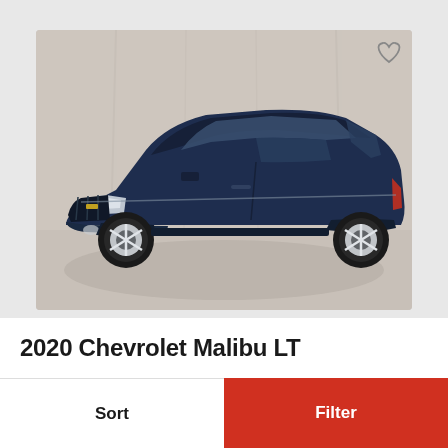[Figure (photo): A 2020 Chevrolet Malibu LT in dark navy blue, photographed at a three-quarter front angle in a dealership studio setting with white/grey backdrop and light grey floor.]
2020 Chevrolet Malibu LT
Sort
Filter